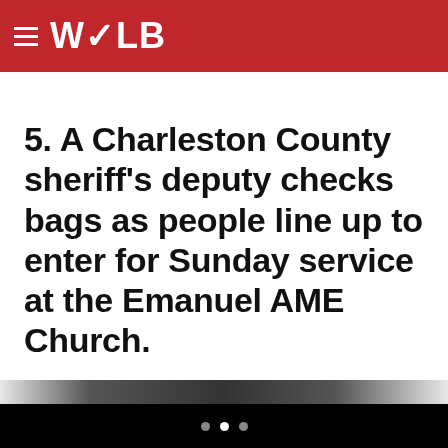WOLB
5. A Charleston County sheriff's deputy checks bags as people line up to enter for Sunday service at the Emanuel AME Church.
[Figure (photo): Partial view of people at the Emanuel AME Church entrance, bottom strip of photograph visible]